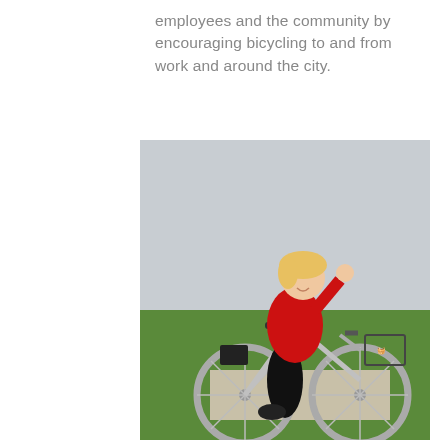employees and the community by encouraging bicycling to and from work and around the city.
[Figure (photo): A smiling woman in a red jacket and black pants riding a silver bicycle on a path, giving a thumbs up. Green grass is visible in the background. The bicycle has a wire basket on the front.]